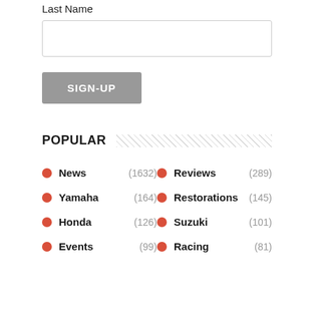Last Name
[Figure (screenshot): Text input box for Last Name field]
[Figure (screenshot): SIGN-UP button (gray background, white uppercase text)]
POPULAR
News (1632)
Reviews (289)
Yamaha (164)
Restorations (145)
Honda (126)
Suzuki (101)
Events (99)
Racing (81)